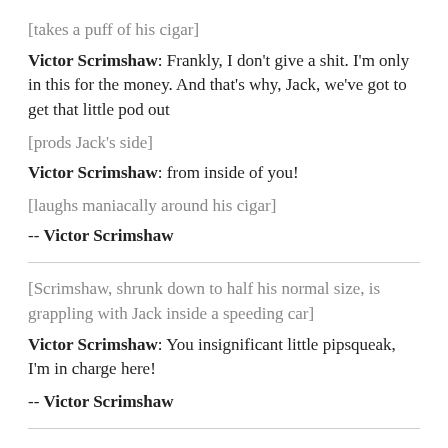[takes a puff of his cigar]
Victor Scrimshaw: Frankly, I don't give a shit. I'm only in this for the money. And that's why, Jack, we've got to get that little pod out
[prods Jack's side]
Victor Scrimshaw: from inside of you!
[laughs maniacally around his cigar]
-- Victor Scrimshaw
[Scrimshaw, shrunk down to half his normal size, is grappling with Jack inside a speeding car]
Victor Scrimshaw: You insignificant little pipsqueak, I'm in charge here!
-- Victor Scrimshaw